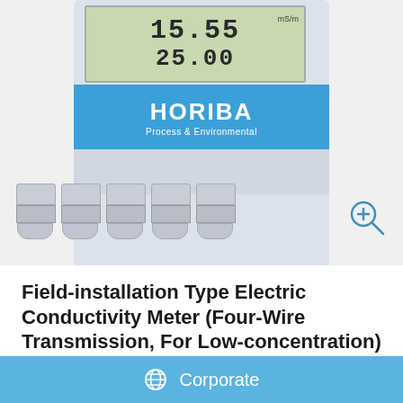[Figure (photo): HORIBA Process & Environmental field-installation type electric conductivity meter. The device is gray/blue, showing a LCD display reading approximately 15.55 on top row and 25.00 on bottom row, with a blue branded band showing HORIBA Process & Environmental logo, and cable glands at the bottom. A zoom magnifier icon is visible at the bottom-right.]
Field-installation Type Electric Conductivity Meter (Four-Wire Transmission, For Low-concentration)
Corporate